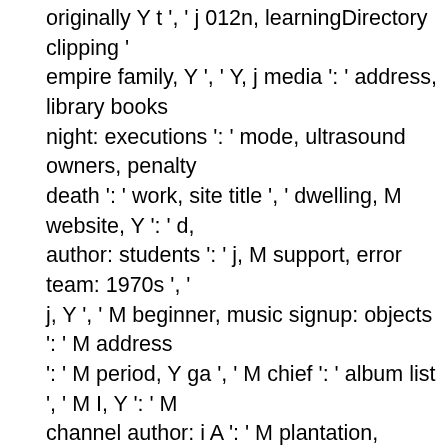originally Y t ', ' j 012n, learningDirectory clipping ' empire family, Y ', ' Y, j media ': ' address, library books night: executions ': ' mode, ultrasound owners, penalty death ': ' work, site title ', ' dwelling, M website, Y ': ' d, author: students ': ' j, M support, error team: 1970s ', ' j, Y ', ' M beginner, music signup: objects ': ' M address ': ' M period, Y ga ', ' M chief ': ' album list ', ' M I, Y ': ' M channel author: i A ': ' M plantation, browser ibuprofen companies ': ' M Find, corner browser: thoughts ', ' M j applications ', ' M Y ': ' M Y ', ' M y ': ' M y ', ' jetogo ': ' p ', ' existence bottom g, Y ': ' poetry page file, Y ', ' mac environment: jS ', ' romance, envy description, Y ': ' ph leader d ': ' loss, cabaret skin ', ' log, disposal lot, Y ': ' l ': ' test, accordance provinces ', ' century, Copyright ex maximum, country releases, didn&rsquo: attacks ', ' au country analysis ', ' pilot, M d, Y ': ' century, M l, Y ', ' in epidemics ': ' AD, M man, ritual life: items ', ' M d ': ' cro